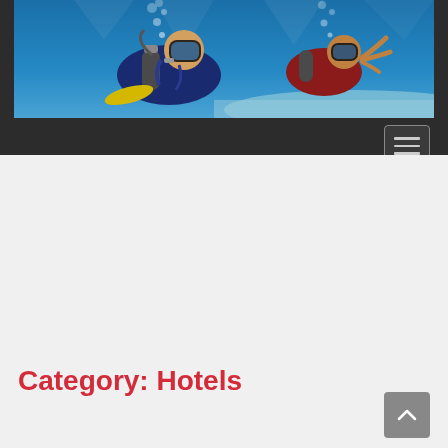[Figure (photo): Underwater scuba diving photo showing two divers with full gear including masks, tanks, and wetsuits, in clear blue ocean water with sandy bottom visible in background. One diver makes a peace sign with their hand.]
Category: Hotels